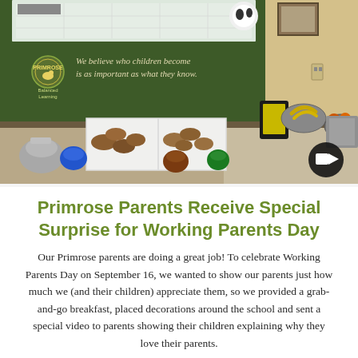[Figure (photo): Indoor photo of a Primrose school breakfast table setup with pastries/rolls in white boxes, K-cups, a silver coffee pot, fruit bowls with bananas and oranges, a yellow-signed tablet, against a dark green wall with a Primrose Balanced Learning sign reading 'We believe who children become is as important as what they know.' A video camera icon overlay appears in the bottom right.]
Primrose Parents Receive Special Surprise for Working Parents Day
Our Primrose parents are doing a great job! To celebrate Working Parents Day on September 16, we wanted to show our parents just how much we (and their children) appreciate them, so we provided a grab-and-go breakfast, placed decorations around the school and sent a special video to parents showing their children explaining why they love their parents.